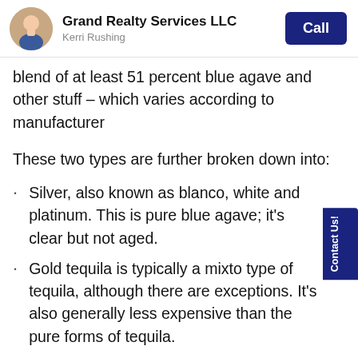Grand Realty Services LLC
Kerri Rushing
blend of at least 51 percent blue agave and other stuff – which varies according to manufacturer
These two types are further broken down into:
Silver, also known as blanco, white and platinum. This is pure blue agave; it's clear but not aged.
Gold tequila is typically a mixto type of tequila, although there are exceptions. It's also generally less expensive than the pure forms of tequila.
Reposado is a lightly aged agave – usually stored for between two and 11 months. Sometimes a caramel